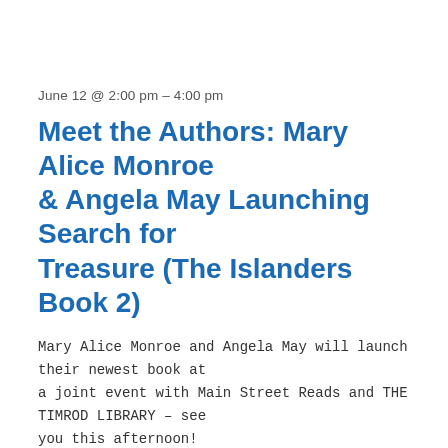June 12 @ 2:00 pm – 4:00 pm
Meet the Authors: Mary Alice Monroe & Angela May Launching Search for Treasure (The Islanders Book 2)
Mary Alice Monroe and Angela May will launch their newest book at a joint event with Main Street Reads and THE TIMROD LIBRARY – see you this afternoon!
MONDAY